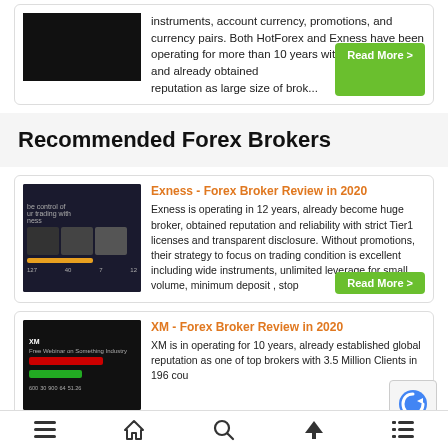instruments, account currency, promotions, and currency pairs. Both HotForex and Exness have been operating for more than 10 years with Tier1 licenses, and already obtained [Read More >]
Recommended Forex Brokers
[Figure (screenshot): Exness trading platform screenshot]
Exness - Forex Broker Review in 2020
Exness is operating in 12 years, already become huge broker, obtained reputation and reliability with strict Tier1 licenses and transparent disclosure. Without promotions, their strategy to focus on trading condition is excellent including wide instruments, unlimited leverage for small volume, minimum deposit , stop [Read More >]
[Figure (screenshot): XM broker website screenshot]
XM - Forex Broker Review in 2020
XM is in operating for 10 years, already established global reputation as one of top brokers with 3.5 Million Clients in 196 cou [Read More >]